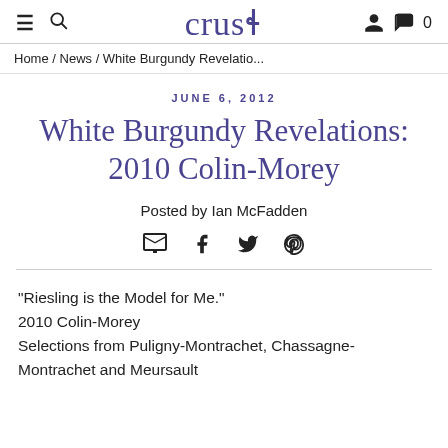crush
Home / News / White Burgundy Revelatio...
JUNE 6, 2012
White Burgundy Revelations: 2010 Colin-Morey
Posted by Ian McFadden
"Riesling is the Model for Me."
2010 Colin-Morey
Selections from Puligny-Montrachet, Chassagne-Montrachet and Meursault